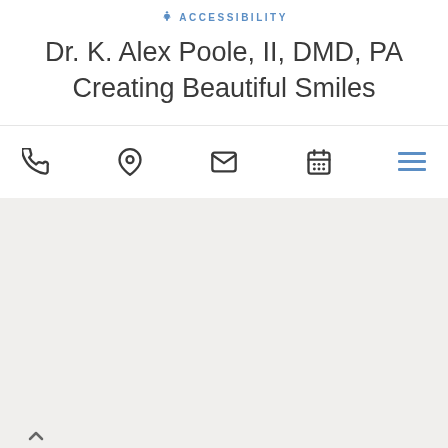♿ ACCESSIBILITY
Dr. K. Alex Poole, II, DMD, PA
Creating Beautiful Smiles
[Figure (infographic): Navigation bar with phone icon, location pin icon, envelope/email icon, calendar icon on the left, and hamburger menu icon on the right]
[Figure (other): Back to top chevron arrow button at bottom left]